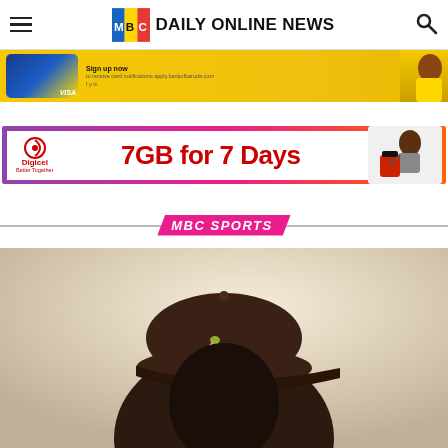MBC DAILY ONLINE NEWS
[Figure (photo): Bank advertisement banner with credit card and person in yellow, showing 'Sign up now' and VISA logo]
[Figure (photo): Digicel advertisement banner: '7GB for 7 Days' with Digicel logo and person with luggage]
MBC SPORTS
[Figure (photo): Person wearing a dark brown/maroon cap with a small logo embroidered on it, photographed against a light beige background]